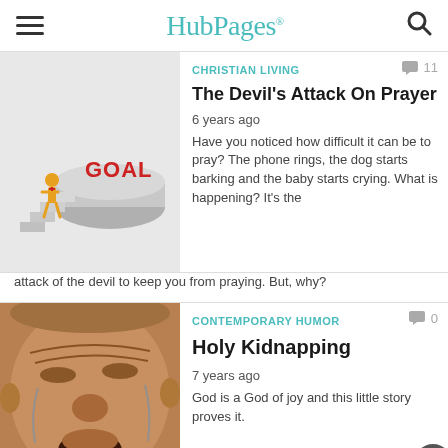HubPages
CHRISTIAN LIVING  11
The Devil's Attack On Prayer
6 years ago
Have you noticed how difficult it can be to pray? The phone rings, the dog starts barking and the baby starts crying. What is happening? It's the attack of the devil to keep you from praying. But, why?
[Figure (photo): A 3D illustration showing a figure walking toward a goal sign on a raised platform]
CONTEMPORARY HUMOR  0
Holy Kidnapping
7 years ago
God is a God of joy and this little story proves it.
[Figure (photo): Close-up photo of an elderly man with an exaggerated crying/laughing expression, toothless]